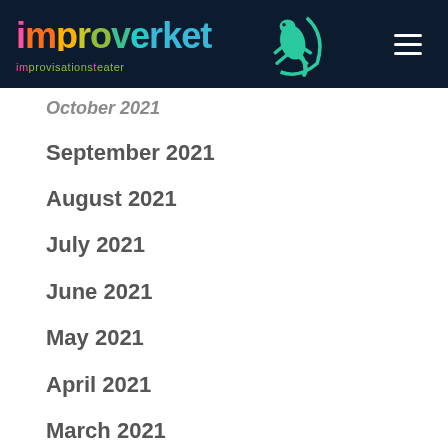[Figure (logo): Improverket improvisationsteater logo with colorful text and teal lizard icon on dark navy background]
October 2021
September 2021
August 2021
July 2021
June 2021
May 2021
April 2021
March 2021
February 2021